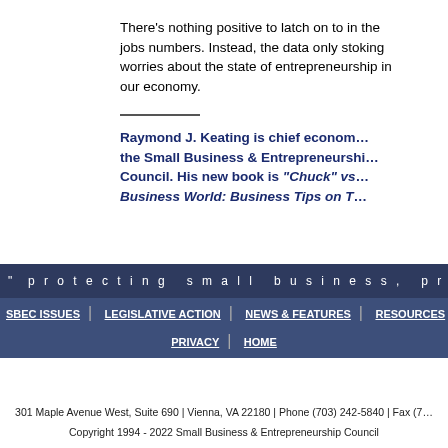There's nothing positive to latch on to in the jobs numbers. Instead, the data only stoking worries about the state of entrepreneurship in our economy.
Raymond J. Keating is chief economist for the Small Business & Entrepreneurship Council. His new book is “Chuck” vs the Business World: Business Tips on T…
" protecting small business, promoting entrep… | SBEC ISSUES | LEGISLATIVE ACTION | NEWS & FEATURES | RESOURCES | GET INVOL… | PRIVACY | HOME
301 Maple Avenue West, Suite 690 | Vienna, VA 22180 | Phone (703) 242-5840 | Fax (7…
Copyright 1994 - 2022 Small Business & Entrepreneurship Council